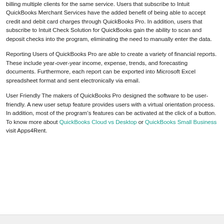billing multiple clients for the same service. Users that subscribe to Intuit QuickBooks Merchant Services have the added benefit of being able to accept credit and debit card charges through QuickBooks Pro. In addition, users that subscribe to Intuit Check Solution for QuickBooks gain the ability to scan and deposit checks into the program, eliminating the need to manually enter the data.
Reporting Users of QuickBooks Pro are able to create a variety of financial reports. These include year-over-year income, expense, trends, and forecasting documents. Furthermore, each report can be exported into Microsoft Excel spreadsheet format and sent electronically via email.
User Friendly The makers of QuickBooks Pro designed the software to be user-friendly. A new user setup feature provides users with a virtual orientation process. In addition, most of the program's features can be activated at the click of a button. To know more about QuickBooks Cloud vs Desktop or QuickBooks Small Business visit Apps4Rent.